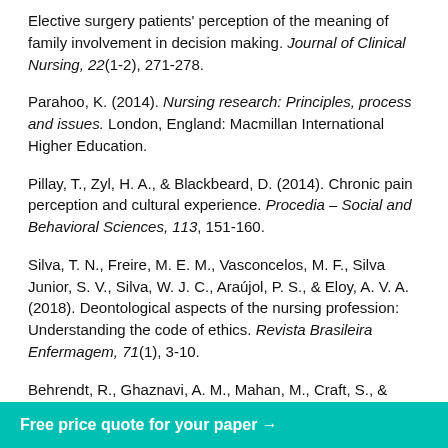Elective surgery patients' perception of the meaning of family involvement in decision making. Journal of Clinical Nursing, 22(1-2), 271-278.
Parahoo, K. (2014). Nursing research: Principles, process and issues. London, England: Macmillan International Higher Education.
Pillay, T., Zyl, H. A., & Blackbeard, D. (2014). Chronic pain perception and cultural experience. Procedia – Social and Behavioral Sciences, 113, 151-160.
Silva, T. N., Freire, M. E. M., Vasconcelos, M. F., Silva Junior, S. V., Silva, W. J. C., Araújol, P. S., & Eloy, A. V. A. (2018). Deontological aspects of the nursing profession: Understanding the code of ethics. Revista Brasileira Enfermagem, 71(1), 3-10.
Behrendt, R., Ghaznavi, A. M., Mahan, M., Craft, S., & Siddiqui, A. (2014). Continuous and reactive pressure ulcers...
Free price quote for your paper →